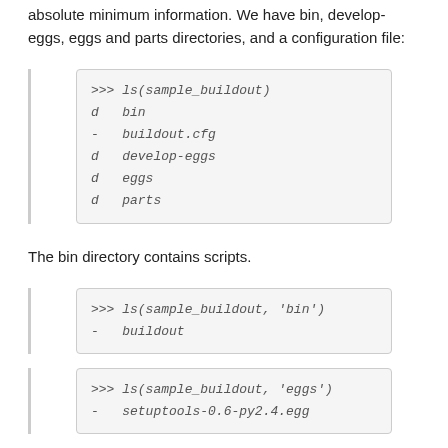absolute minimum information. We have bin, develop-eggs, eggs and parts directories, and a configuration file:
[Figure (screenshot): Code block showing: >>> ls(sample_buildout)
d  bin
-  buildout.cfg
d  develop-eggs
d  eggs
d  parts]
The bin directory contains scripts.
[Figure (screenshot): Code block showing: >>> ls(sample_buildout, 'bin')
-  buildout]
[Figure (screenshot): Code block showing: >>> ls(sample_buildout, 'eggs')
-  setuptools-0.6-py2.4.egg]